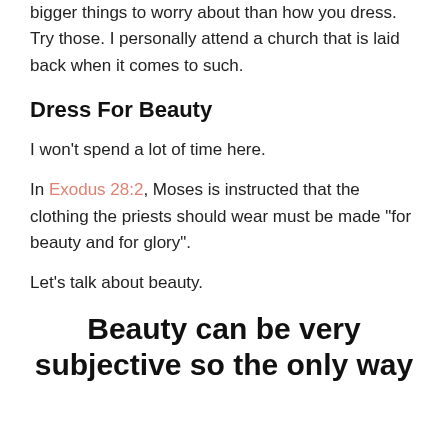bigger things to worry about than how you dress. Try those. I personally attend a church that is laid back when it comes to such.
Dress For Beauty
I won't spend a lot of time here.
In Exodus 28:2, Moses is instructed that the clothing the priests should wear must be made “for beauty and for glory”.
Let’s talk about beauty.
Beauty can be very subjective so the only way